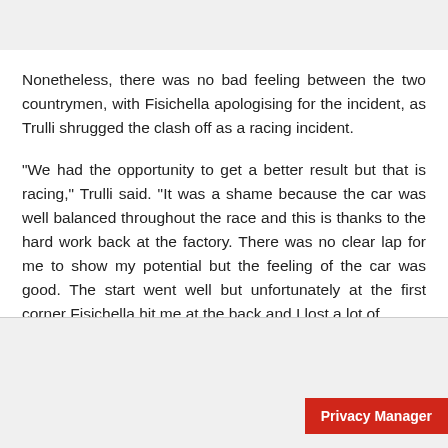Nonetheless, there was no bad feeling between the two countrymen, with Fisichella apologising for the incident, as Trulli shrugged the clash off as a racing incident.
"We had the opportunity to get a better result but that is racing," Trulli said. "It was a shame because the car was well balanced throughout the race and this is thanks to the hard work back at the factory. There was no clear lap for me to show my potential but the feeling of the car was good. The start went well but unfortunately at the first corner Fisichella hit me at the back and I lost a lot of
Privacy Manager